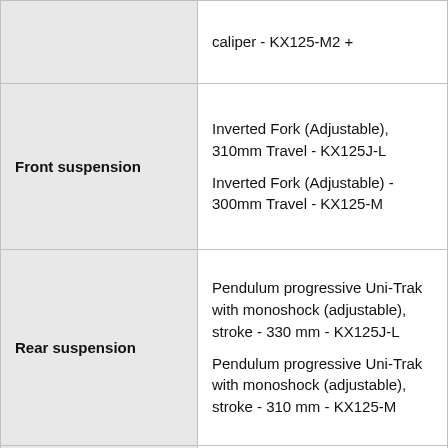| Feature | Specification |
| --- | --- |
|  | caliper - KX125-M2 + |
| Front suspension | Inverted Fork (Adjustable), 310mm Travel - KX125J-L
Inverted Fork (Adjustable) - 300mm Travel - KX125-M |
| Rear suspension | Pendulum progressive Uni-Trak with monoshock (adjustable), stroke - 330 mm - KX125J-L
Pendulum progressive Uni-Trak with monoshock (adjustable), stroke - 310 mm - KX125-M |
|  | 2160 mm - KX125-J
2150 mm - KX125-K |